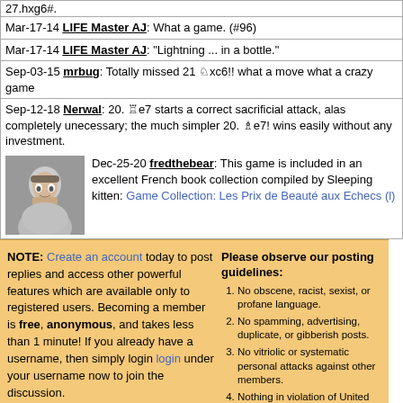27.hxg6#.
Mar-17-14 LIFE Master AJ: What a game. (#96)
Mar-17-14 LIFE Master AJ: "Lightning ... in a bottle."
Sep-03-15 mrbug: Totally missed 21 ♘xc6!! what a move what a crazy game
Sep-12-18 Nerwal: 20. ♖e7 starts a correct sacrificial attack, alas completely unecessary; the much simpler 20. ♗e7! wins easily without any investment.
Dec-25-20 fredthebear: This game is included in an excellent French book collection compiled by Sleeping kitten: Game Collection: Les Prix de Beauté aux Echecs (l)
NOTE: Create an account today to post replies and access other powerful features which are available only to registered users. Becoming a member is free, anonymous, and takes less than 1 minute! If you already have a username, then simply login login under your username now to join the discussion.
Please observe our posting guidelines:
1. No obscene, racist, sexist, or profane language.
2. No spamming, advertising, duplicate, or gibberish posts.
3. No vitriolic or systematic personal attacks against other members.
4. Nothing in violation of United States law.
5. No cyberstalking or malicious posting of negative or private information (doxing/doxxing) of members.
6. No trolling.
7. The use of "sock puppet" accounts to circumvent disciplinary action taken by moderators, create a false impression of consensus or